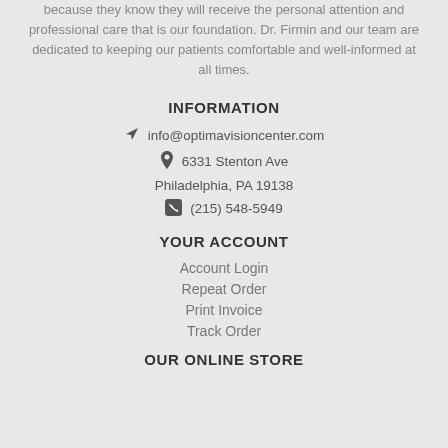because they know they will receive the personal attention and professional care that is our foundation. Dr. Firmin and our team are dedicated to keeping our patients comfortable and well-informed at all times.
INFORMATION
info@optimavisioncenter.com
6331 Stenton Ave Philadelphia, PA 19138
(215) 548-5949
YOUR ACCOUNT
Account Login
Repeat Order
Print Invoice
Track Order
OUR ONLINE STORE